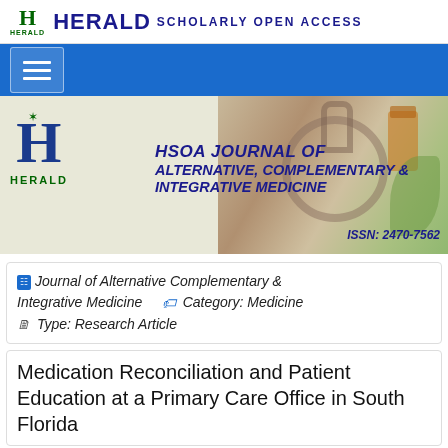HERALD SCHOLARLY OPEN ACCESS
[Figure (logo): Herald Scholarly Open Access journal banner with HSOA Journal of Alternative, Complementary & Integrative Medicine logo, ISSN: 2470-7562]
Journal of Alternative Complementary & Integrative Medicine   Category: Medicine   Type: Research Article
Medication Reconciliation and Patient Education at a Primary Care Office in South Florida